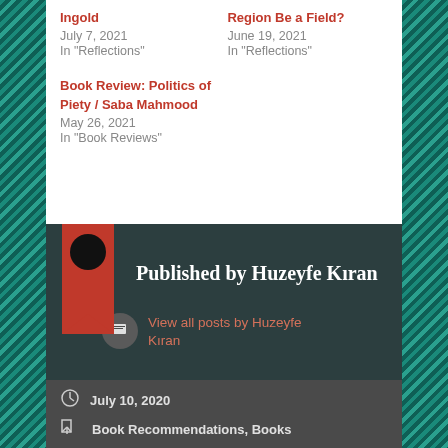Ingold
July 7, 2021
In "Reflections"
Region Be a Field?
June 19, 2021
In "Reflections"
Book Review: Politics of Piety / Saba Mahmood
May 26, 2021
In "Book Reviews"
Published by Huzeyfe Kıran
View all posts by Huzeyfe Kıran
July 10, 2020
Book Recommendations, Books